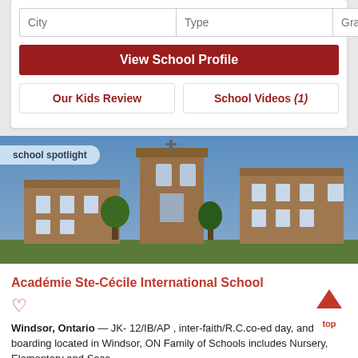City | Type | Grades
View School Profile
Our Kids Review
School Videos (1)
school spotlight
[Figure (photo): Exterior photo of Académie Ste-Cécile International School building, a brick structure with a tower and cross, under a blue sky.]
Académie Ste-Cécile International School
Windsor, Ontario — JK- 12/IB/AP , inter-faith/R.C.co-ed day, and boarding located in Windsor, ON Family of Schools includes Nursery, Elementary and Secondary